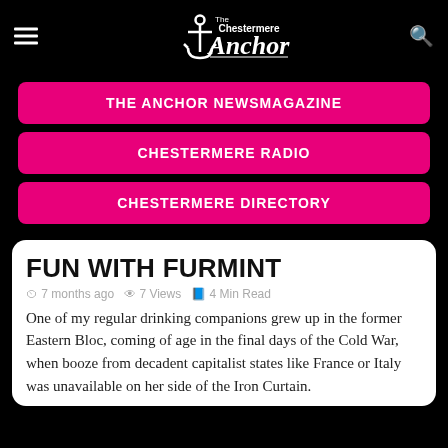[Figure (logo): The Chestermere Anchor logo — anchor figure with 'The Chestermere Anchor' text]
THE ANCHOR NEWSMAGAZINE
CHESTERMERE RADIO
CHESTERMERE DIRECTORY
FUN WITH FURMINT
7 months ago   7 Views   4 Min Read
One of my regular drinking companions grew up in the former Eastern Bloc, coming of age in the final days of the Cold War, when booze from decadent capitalist states like France or Italy was unavailable on her side of the Iron Curtain.